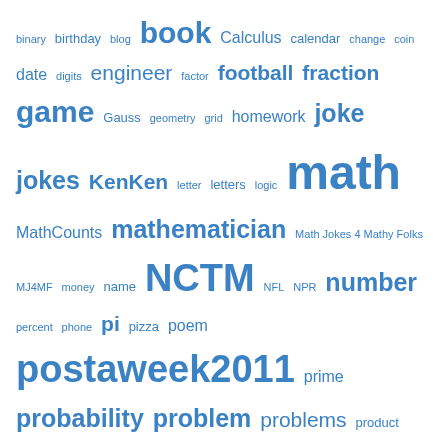binary birthday blog book Calculus calendar change coin date digits engineer factor football fraction game Gauss geometry grid homework joke jokes KenKen letter letters logic math MathCounts mathematician Math Jokes 4 Mathy Folks MJ4MF money name NCTM NFL NPR number percent phone pi pizza poem postaweek2011 prime probability problem problems product professor puns puzzle puzzles quiz Scrabble sequence square statistician statistics sum Super Bowl time trick Twelve Days of Christmas Twelve Days of Crisp Math word words xkcd
RSS Feeds
RSS - Posts
RSS - Comments